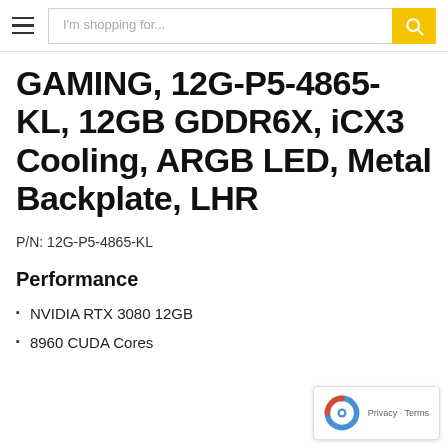I'm shopping for...
GAMING, 12G-P5-4865-KL, 12GB GDDR6X, iCX3 Cooling, ARGB LED, Metal Backplate, LHR
P/N: 12G-P5-4865-KL
Performance
NVIDIA RTX 3080 12GB
8960 CUDA Cores